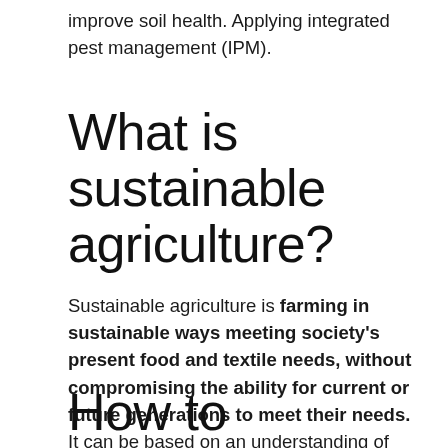improve soil health. Applying integrated pest management (IPM).
What is sustainable agriculture?
Sustainable agriculture is farming in sustainable ways meeting society's present food and textile needs, without compromising the ability for current or future generations to meet their needs. It can be based on an understanding of ecosystem services.
How to improve the environment in